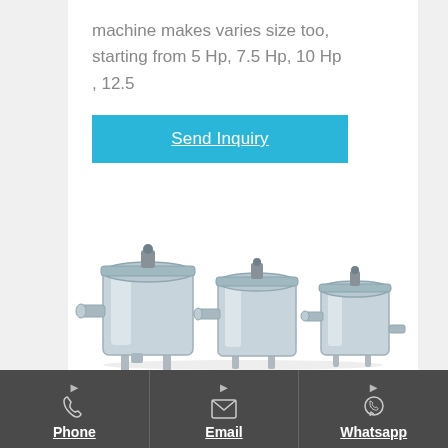machine makes varies size too, starting from 5 Hp, 7.5 Hp, 10 Hp , 12.5
Send Inquiry
[Figure (photo): Three stainless steel bag filter housings of different sizes arranged side by side]
Phone | Email | Whatsapp